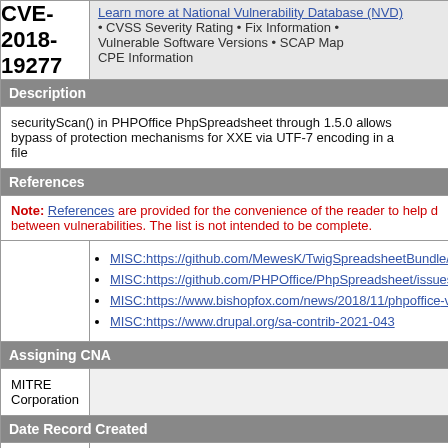CVE-2018-19277
Learn more at National Vulnerability Database (NVD) • CVSS Severity Rating • Fix Information • Vulnerable Software Versions • SCAP Mappings • CPE Information
Description
securityScan() in PHPOffice PhpSpreadsheet through 1.5.0 allows bypass of protection mechanisms for XXE via UTF-7 encoding in a file
References
Note: References are provided for the convenience of the reader to help differentiate between vulnerabilities. The list is not intended to be complete.
MISC:https://github.com/MewesK/TwigSpreadsheetBundle/
MISC:https://github.com/PHPOffice/PhpSpreadsheet/issues
MISC:https://www.bishopfox.com/news/2018/11/phpoffice-v
MISC:https://www.drupal.org/sa-contrib-2021-043
Assigning CNA
MITRE Corporation
Date Record Created
20181114
Disclaimer: The record creation date